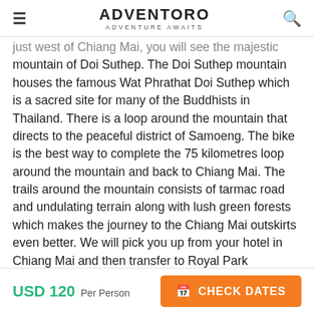ADVENTORO | ADVENTURE AWAITS
just west of Chiang Mai, you will see the majestic mountain of Doi Suthep. The Doi Suthep mountain houses the famous Wat Phrathat Doi Suthep which is a sacred site for many of the Buddhists in Thailand. There is a loop around the mountain that directs to the peaceful district of Samoeng. The bike is the best way to complete the 75 kilometres loop around the mountain and back to Chiang Mai. The trails around the mountain consists of tarmac road and undulating terrain along with lush green forests which makes the journey to the Chiang Mai outskirts even better. We will pick you up from your hotel in Chiang Mai and then transfer to Royal Park Rajapruek. Upon reaching the royal park, we will prepare ourselves for the cycling journey. We start with a leisure ride through quiet country
USD 120 Per Person | CHECK DATES